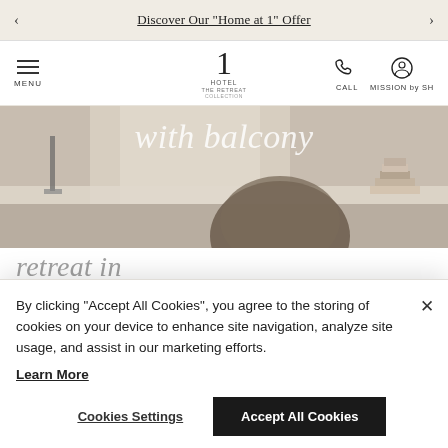Discover Our "Home at 1" Offer
[Figure (screenshot): Hotel website navigation bar with menu icon, '1 Hotel The Retreat Collection' logo, phone/call icon, and 'Mission by SH' user icon]
[Figure (photo): Hotel room interior showing a desk with lamp, wicker chair, and decorative items with text overlay 'with balcony' and partial text 'retreat in']
By clicking “Accept All Cookies”, you agree to the storing of cookies on your device to enhance site navigation, analyze site usage, and assist in our marketing efforts. Learn More
Cookies Settings
Accept All Cookies